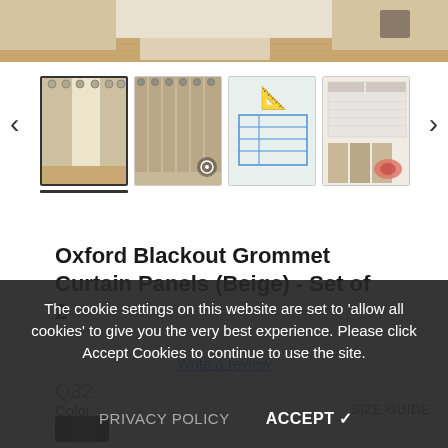[Figure (photo): Top portion of a product page showing a room scene with curtain panels, partially cropped at the top]
[Figure (photo): Thumbnail image carousel showing 4 product thumbnails of Oxford Blackout Grommet Curtain Panels in beige, with left and right navigation arrows. First thumbnail is selected with underline indicator.]
Oxford Blackout Grommet Curtain Panels (Beige) - Set of 2
Write a review
Q32
Color
SIZE GUIDE
The cookie settings on this website are set to 'allow all cookies' to give you the very best experience. Please click Accept Cookies to continue to use the site.
PRIVACY POLICY
ACCEPT ✓